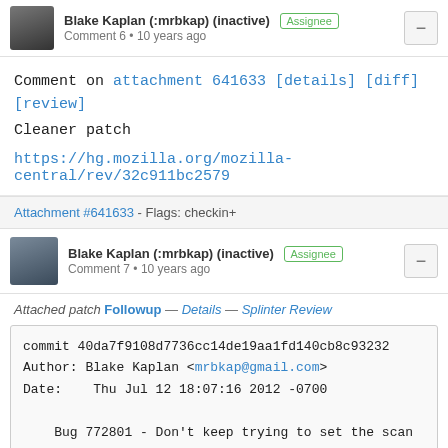Blake Kaplan (:mrbkap) (inactive) [Assignee] Comment 6 • 10 years ago
Comment on attachment 641633 [details] [diff] [review]
Cleaner patch

https://hg.mozilla.org/mozilla-central/rev/32c911bc2579
Attachment #641633 - Flags: checkin+
Blake Kaplan (:mrbkap) (inactive) [Assignee] Comment 7 • 10 years ago
Attached patch Followup — Details — Splinter Review
commit 40da7f9108d7736cc14de19aa1fd140cb8c93232
Author: Blake Kaplan <mrbkap@gmail.com>
Date:   Thu Jul 12 18:07:16 2012 -0700

    Bug 772801 - Don't keep trying to set the scan mo